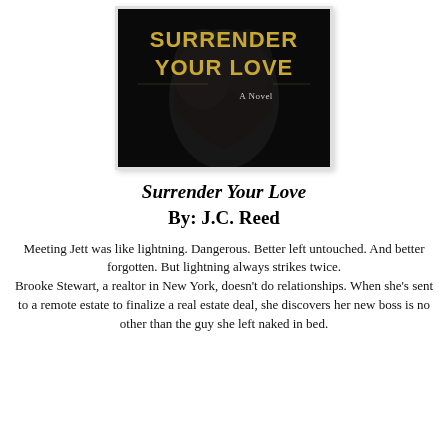[Figure (illustration): Book cover of 'Surrender Your Love' by J.C. Reed showing text 'SURRENDER YOUR LOVE' in gold letters and 'A Novel' subtitle on a dark background with figures]
Surrender Your Love
By: J.C. Reed
Meeting Jett was like lightning. Dangerous. Better left untouched. And better forgotten. But lightning always strikes twice.
Brooke Stewart, a realtor in New York, doesn't do relationships. When she's sent to a remote estate to finalize a real estate deal, she discovers her new boss is no other than the guy she left naked in bed.